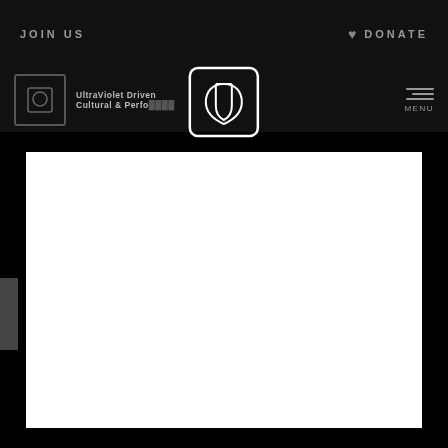JOIN US
DONATE
[Figure (logo): Ultraviolet organization logo — stylized UV monogram inside circle/teardrop shape with wordmark 'ultraviolet' below]
UltraViolet Driven Cultural & Performance
[Figure (other): White content area / main page body (blank white rectangle)]